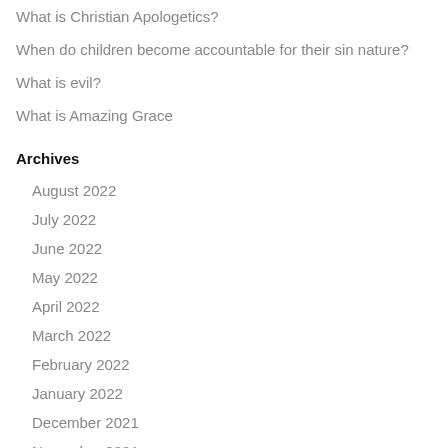What is Christian Apologetics?
When do children become accountable for their sin nature?
What is evil?
What is Amazing Grace
Archives
August 2022
July 2022
June 2022
May 2022
April 2022
March 2022
February 2022
January 2022
December 2021
November 2021
October 2021
September 2021
August 2021